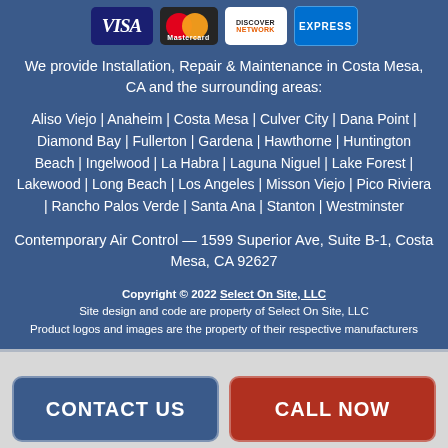[Figure (logo): Payment card logos: Visa, Mastercard, Discover Network, American Express]
We provide Installation, Repair & Maintenance in Costa Mesa, CA and the surrounding areas:
Aliso Viejo | Anaheim | Costa Mesa | Culver City | Dana Point | Diamond Bay | Fullerton | Gardena | Hawthorne | Huntington Beach | Ingelwood | La Habra | Laguna Niguel | Lake Forest | Lakewood | Long Beach | Los Angeles | Misson Viejo | Pico Riviera | Rancho Palos Verde | Santa Ana | Stanton | Westminster
Contemporary Air Control — 1599 Superior Ave, Suite B-1, Costa Mesa, CA 92627
Copyright © 2022 Select On Site, LLC
Site design and code are property of Select On Site, LLC
Product logos and images are the property of their respective manufacturers
CONTACT US
CALL NOW